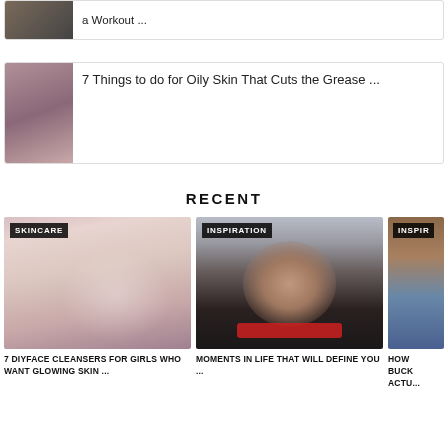[Figure (photo): Article card with thumbnail: a Workout ...]
[Figure (photo): Article card with woman lying down thumbnail: 7 Things to do for Oily Skin That Cuts the Grease ...]
RECENT
[Figure (photo): Skincare card image of woman with water on face, tagged SKINCARE]
7 DIYFACE CLEANSERS FOR GIRLS WHO WANT GLOWING SKIN ...
[Figure (photo): Inspiration card of woman with red lipstick, tagged INSPIRATION]
MOMENTS IN LIFE THAT WILL DEFINE YOU ...
[Figure (photo): Partially visible inspiration card, tagged INSPIR...]
HOW BUCK ACTU...